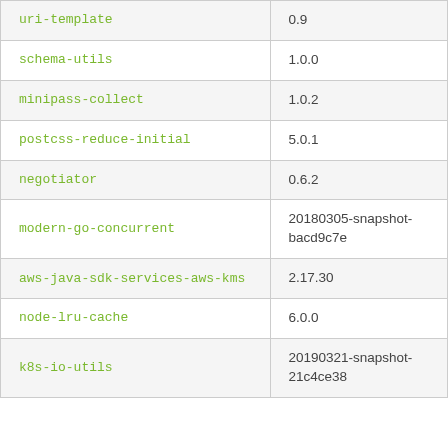| uri-template | 0.9 |
| schema-utils | 1.0.0 |
| minipass-collect | 1.0.2 |
| postcss-reduce-initial | 5.0.1 |
| negotiator | 0.6.2 |
| modern-go-concurrent | 20180305-snapshot-bacd9c7e |
| aws-java-sdk-services-aws-kms | 2.17.30 |
| node-lru-cache | 6.0.0 |
| k8s-io-utils | 20190321-snapshot-21c4ce38 |